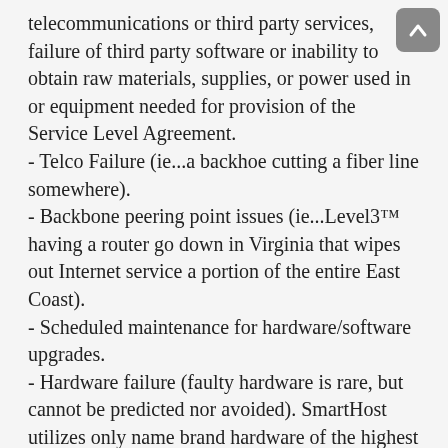telecommunications or third party services, failure of third party software or inability to obtain raw materials, supplies, or power used in or equipment needed for provision of the Service Level Agreement. - Telco Failure (ie...a backhoe cutting a fiber line somewhere). - Backbone peering point issues (ie...Level3™ having a router go down in Virginia that wipes out Internet service a portion of the entire East Coast). - Scheduled maintenance for hardware/software upgrades. - Hardware failure (faulty hardware is rare, but cannot be predicted nor avoided). SmartHost utilizes only name brand hardware of the highest quality and performance. - Software bugs/flaws (Exploits and bugs may develop that cause security issues or downtime).